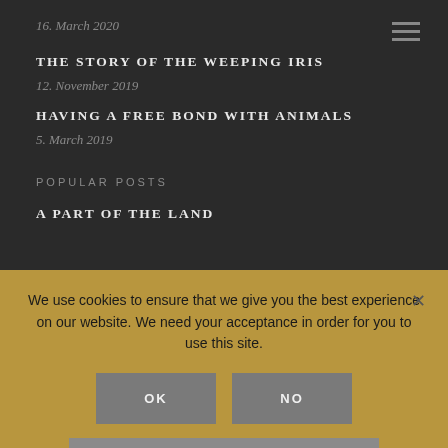16. March 2020
THE STORY OF THE WEEPING IRIS
12. November 2019
HAVING A FREE BOND WITH ANIMALS
5. March 2019
POPULAR POSTS
A PART OF THE LAND
We use cookies to ensure that we give you the best experience on our website. We need your acceptance in order for you to use this site.
OK
NO
COOKIE & PRIVACY POLICY